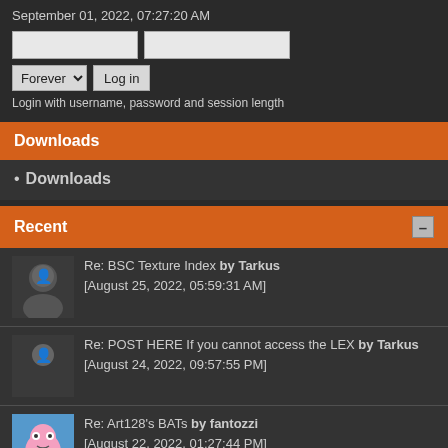September 01, 2022, 07:27:20 AM
Login with username, password and session length
Downloads
Downloads
Recent
Re: BSC Texture Index by Tarkus [August 25, 2022, 05:59:31 AM]
Re: POST HERE If you cannot access the LEX by Tarkus [August 24, 2022, 09:57:55 PM]
Re: Art128's BATs by fantozzi [August 22, 2022, 01:27:44 PM]
Re: RHW (RealHighway) - Development and Support by